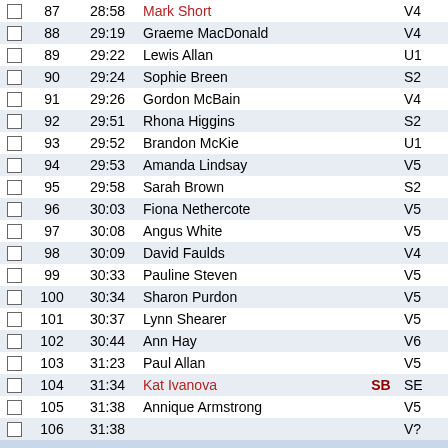|  | # | Time | Name |  | Cat |
| --- | --- | --- | --- | --- | --- |
|  | 87 | 28:58 | Mark Short |  | V4 |
|  | 88 | 29:19 | Graeme MacDonald |  | V4 |
|  | 89 | 29:22 | Lewis Allan |  | U1 |
|  | 90 | 29:24 | Sophie Breen |  | S2 |
|  | 91 | 29:26 | Gordon McBain |  | V4 |
|  | 92 | 29:51 | Rhona Higgins |  | S2 |
|  | 93 | 29:52 | Brandon McKie |  | U1 |
|  | 94 | 29:53 | Amanda Lindsay |  | V5 |
|  | 95 | 29:58 | Sarah Brown |  | S2 |
|  | 96 | 30:03 | Fiona Nethercote |  | V5 |
|  | 97 | 30:08 | Angus White |  | V5 |
|  | 98 | 30:09 | David Faulds |  | V4 |
|  | 99 | 30:33 | Pauline Steven |  | V5 |
|  | 100 | 30:34 | Sharon Purdon |  | V5 |
|  | 101 | 30:37 | Lynn Shearer |  | V5 |
|  | 102 | 30:44 | Ann Hay |  | V6 |
|  | 103 | 31:23 | Paul Allan |  | V5 |
|  | 104 | 31:34 | Kat Ivanova | SB | SE |
|  | 105 | 31:38 | Annique Armstrong |  | V5 |
|  | 106 | 31:38 | ... |  | V? |